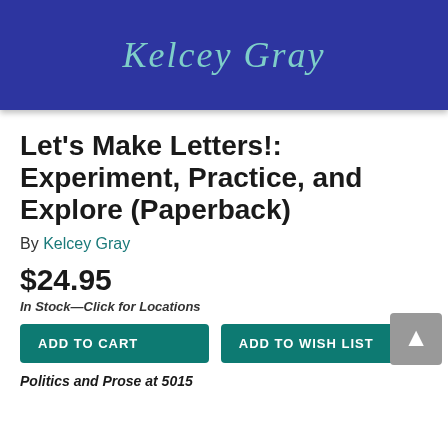[Figure (illustration): Book cover with dark blue background and handwritten-style text 'Kelcey Gray' in teal/light blue cursive]
Let's Make Letters!: Experiment, Practice, and Explore (Paperback)
By Kelcey Gray
$24.95
In Stock—Click for Locations
ADD TO CART   ADD TO WISH LIST
Politics and Prose at 5015